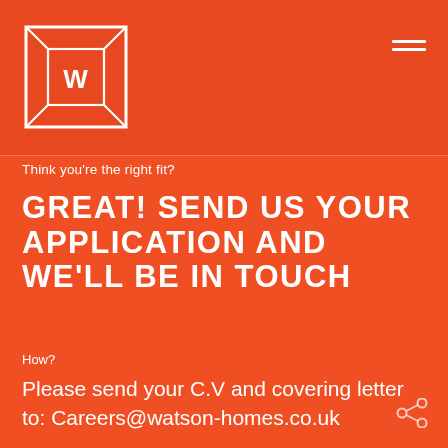[Figure (logo): Watson Homes logo: white square frame with beveled inner border and a 'W' letter in the center, on orange background]
Think you're the right fit?
GREAT! SEND US YOUR APPLICATION AND WE'LL BE IN TOUCH
How?
Please send your C.V and covering letter to: Careers@watson-homes.co.uk